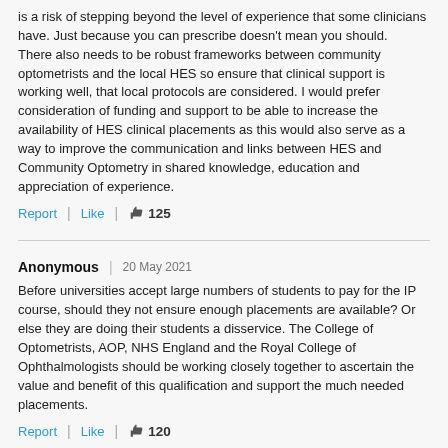is a risk of stepping beyond the level of experience that some clinicians have. Just because you can prescribe doesn't mean you should. There also needs to be robust frameworks between community optometrists and the local HES so ensure that clinical support is working well, that local protocols are considered. I would prefer consideration of funding and support to be able to increase the availability of HES clinical placements as this would also serve as a way to improve the communication and links between HES and Community Optometry in shared knowledge, education and appreciation of experience.
Report | Like | 125
Anonymous | 20 May 2021
Before universities accept large numbers of students to pay for the IP course, should they not ensure enough placements are available? Or else they are doing their students a disservice. The College of Optometrists, AOP, NHS England and the Royal College of Ophthalmologists should be working closely together to ascertain the value and benefit of this qualification and support the much needed placements.
Report | Like | 120